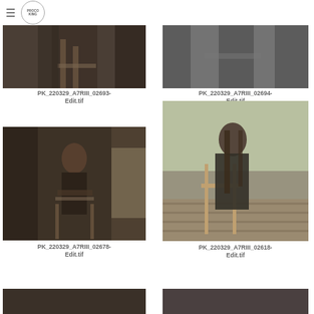≡ [Logo circle: Proco King]
[Figure (photo): Dark interior photo showing lower body of woman in dark outfit holding a wooden chair, partial crop at top]
PK_220329_A7RIII_02693-Edit.tif
[Figure (photo): Black and white photo of woman's hand/lower body near wooden chair, partial crop at top]
PK_220329_A7RIII_02694-Edit.tif
[Figure (photo): Dark moody interior photo of woman in dark blazer sitting on wooden chair in rustic setting]
PK_220329_A7RIII_02678-Edit.tif
[Figure (photo): Outdoor photo of woman with long dark hair in dark outfit leaning on a wooden chair on a wooden deck]
PK_220329_A7RIII_02618-Edit.tif
[Figure (photo): Partial image at bottom left, dark photo cut off]
[Figure (photo): Partial image at bottom right, dark photo cut off]